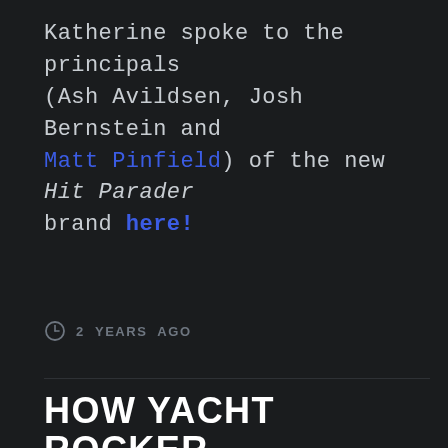Katherine spoke to the principals (Ash Avildsen, Josh Bernstein and Matt Pinfield) of the new Hit Parader brand here!
2 YEARS AGO
HOW YACHT ROCKER CHRISTOPHER CROSS ALMOST SANK THE